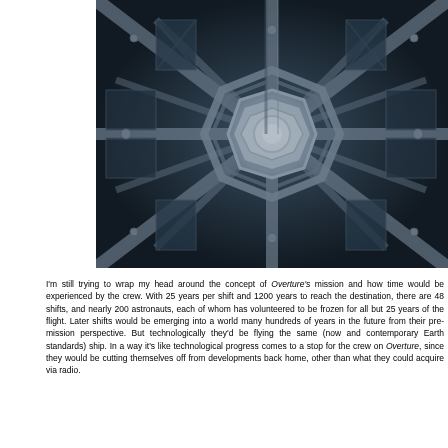[Figure (photo): Aerial or interior view looking up at a large space station or futuristic structure with radial spoke-like beams and a central octagonal hub, rendered in dark steel/grey tones with a science-fiction aesthetic.]
I'm still trying to wrap my head around the concept of Overture's mission and how time would be experienced by the crew. With 25 years per shift and 1200 years to reach the destination, there are 48 shifts, and nearly 200 astronauts, each of whom has volunteered to be frozen for all but 25 years of the flight. Later shifts would be emerging into a world many hundreds of years in the future from their pre-mission perspective. But technologically they'd be flying the same (now ancient by contemporary Earth standards) ship. In a way it's like technological progress comes to a stop for the crew on Overture, since they would be cutting themselves off from developments back home, other than what they could acquire via radio.